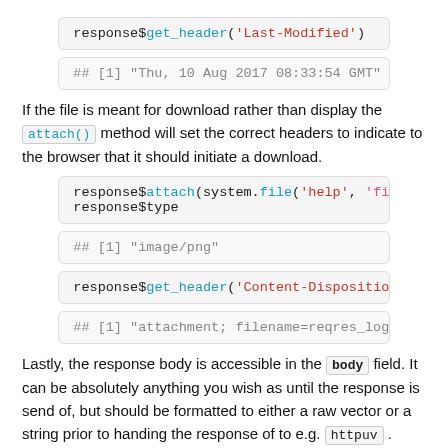[Figure (screenshot): Code block: response$get_header('Last-Modified')]
[Figure (screenshot): Output block: ## [1] "Thu, 10 Aug 2017 08:33:54 GMT"]
If the file is meant for download rather than display the attach() method will set the correct headers to indicate to the browser that it should initiate a download.
[Figure (screenshot): Code block: response$attach(system.file('help', 'figure response$type]
[Figure (screenshot): Output block: ## [1] "image/png"]
[Figure (screenshot): Code block: response$get_header('Content-Disposition')]
[Figure (screenshot): Output block: ## [1] "attachment; filename=reqres_logo.pn]
Lastly, the response body is accessible in the body field. It can be absolutely anything you wish as until the response is send of, but should be formatted to either a raw vector or a string prior to handing the response of to e.g. httpuv . Thankfully there's a parallel to Request$parse() in the form of Response$format that performs content negotiation based on the supplied formatters